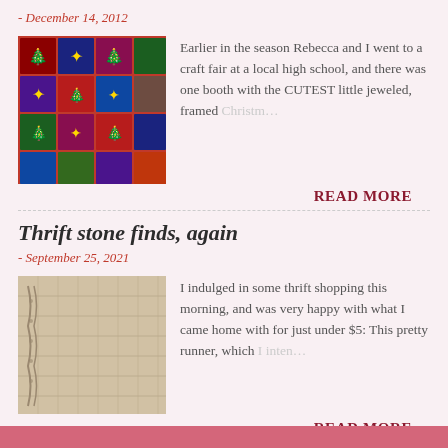- December 14, 2012
[Figure (photo): Photo of Christmas ornaments on display at a craft fair, showing framed jeweled ornaments in red, blue, and multicolor backgrounds]
Earlier in the season Rebecca and I went to a craft fair at a local high school, and there was one booth with the CUTEST little jeweled, framed Christm...
READ MORE
Thrift stone finds, again
- September 25, 2021
[Figure (photo): Close-up photo of a beige/cream lace or embroidered fabric runner]
I indulged in some thrift shopping this morning, and was very happy with what I came home with for just under $5: This pretty runner, which I inten...
READ MORE